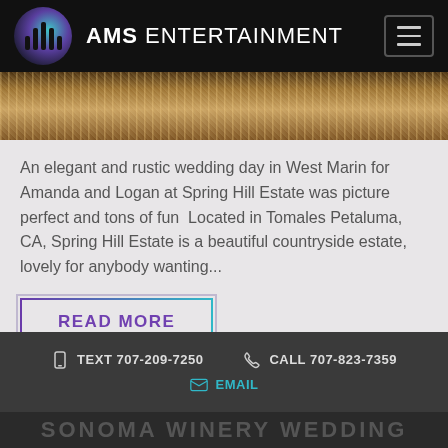AMS ENTERTAINMENT
[Figure (photo): Rustic bokeh fairy lights background, warm golden tones, outdoor wedding setting]
An elegant and rustic wedding day in West Marin for Amanda and Logan at Spring Hill Estate was picture perfect and tons of fun  Located in Tomales Petaluma, CA, Spring Hill Estate is a beautiful countryside estate, lovely for anybody wanting...
READ MORE
TEXT 707-209-7250   CALL 707-823-7359   EMAIL
SONOMA WINERY WEDDING